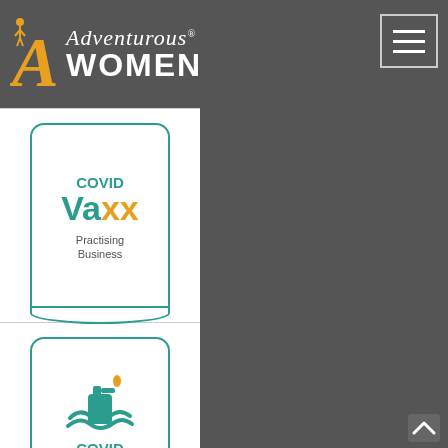[Figure (logo): Adventurous Women logo with stylized A and text]
[Figure (logo): COVID VaXX Practising Business badge in teal]
[Figure (logo): COVID Clean Practicing Business badge with hand sanitizer icon in teal]
[Figure (logo): Tourism Council Western Australia Member logo with orange starburst graphic]